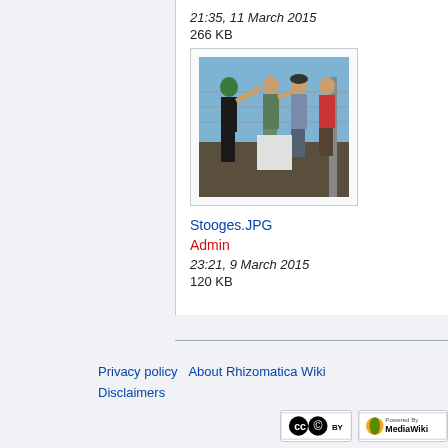21:35, 11 March 2015
266 KB
[Figure (photo): Four people standing outdoors with arms raised, in front of a wire fence, blue sky background]
Stooges.JPG
Admin
23:21, 9 March 2015
120 KB
Privacy policy   About Rhizomatica Wiki   Disclaimers